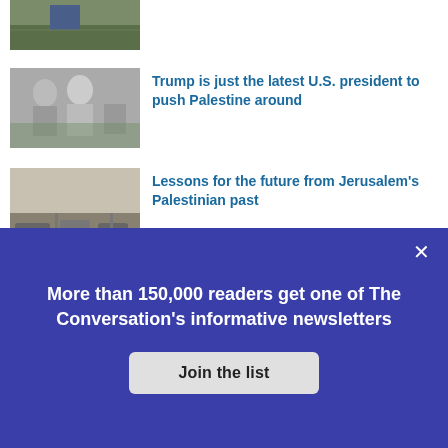[Figure (photo): Partial photo at top, person walking in field/landscape]
[Figure (photo): Black and white photo of political figures including Bill Clinton and Yasser Arafat shaking hands]
Trump is just the latest U.S. president to push Palestine around
[Figure (photo): Vintage black and white photo of cars on a street in Jerusalem]
Lessons for the future from Jerusalem's Palestinian past
More than 150,000 readers get one of The Conversation's informative newsletters
Join the list